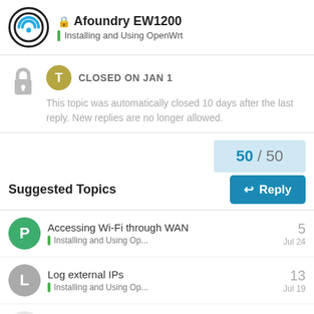Afoundry EW1200 — Installing and Using OpenWrt
CLOSED ON JAN 1
This topic was automatically closed 10 days after the last reply. New replies are no longer allowed.
50 / 50
Suggested Topics
Accessing Wi-Fi through WAN — Installing and Using Op... — 5 — Jul 24
Log external IPs — Installing and Using Op... — 13 — Jul 19
TTL is not increased with iptables command — 4